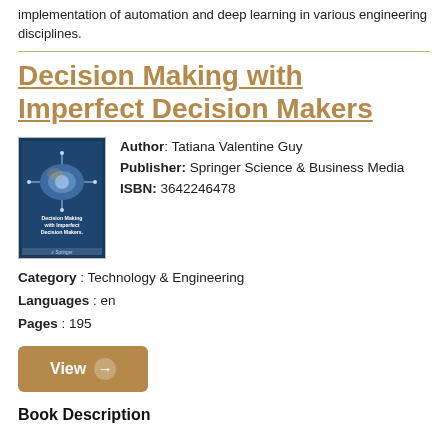implementation of automation and deep learning in various engineering disciplines.
Decision Making with Imperfect Decision Makers
[Figure (illustration): Book cover of 'Decision Making with Imperfect Decision Makers' showing a stylized brain/circuit image on a blue background with the Springer logo.]
Author: Tatiana Valentine Guy
Publisher: Springer Science & Business Media
ISBN: 3642246478
Category : Technology & Engineering
Languages : en
Pages : 195
View →
Book Description